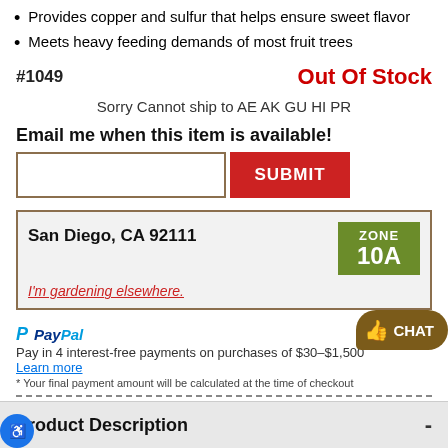Provides copper and sulfur that helps ensure sweet flavor
Meets heavy feeding demands of most fruit trees
#1049   Out Of Stock
Sorry Cannot ship to AE AK GU HI PR
Email me when this item is available!
San Diego, CA 92111 — ZONE 10A
I'm gardening elsewhere.
Pay in 4 interest-free payments on purchases of $30–$1,500. Learn more
* Your final payment amount will be calculated at the time of checkout
Product Description